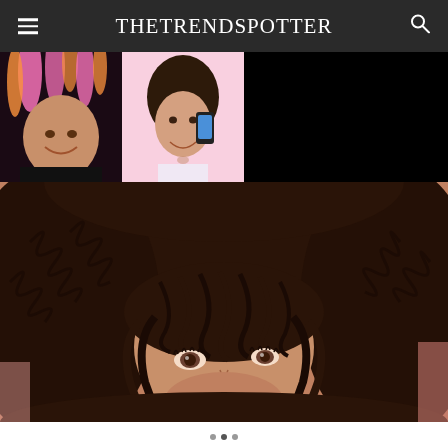TheTrendSpotter
[Figure (photo): Collage of two women with colorful and styled hair on left; black area on right]
[Figure (photo): Close-up portrait of a woman with voluminous dark curly hair and bangs, eyes visible]